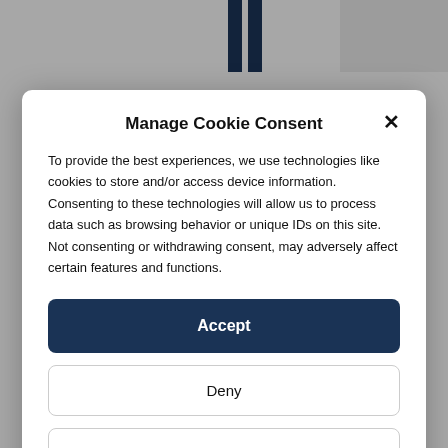[Figure (screenshot): Background page with dark navy vertical bars logo at top and a 'VIEW ALL REPORTS' button outline at the bottom]
Manage Cookie Consent
To provide the best experiences, we use technologies like cookies to store and/or access device information. Consenting to these technologies will allow us to process data such as browsing behavior or unique IDs on this site. Not consenting or withdrawing consent, may adversely affect certain features and functions.
Accept
Deny
View preferences
Privacy Policy